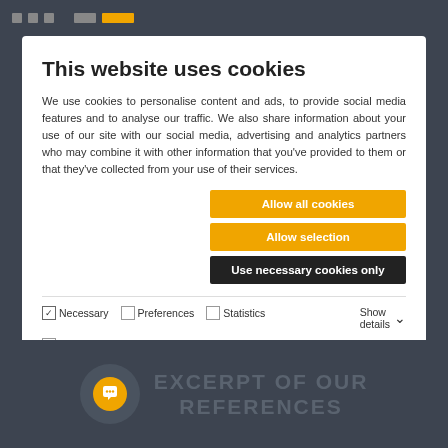[Figure (screenshot): Browser top bar with dark gray background, navigation dot indicators and orange address bar element]
This website uses cookies
We use cookies to personalise content and ads, to provide social media features and to analyse our traffic. We also share information about your use of our site with our social media, advertising and analytics partners who may combine it with other information that you've provided to them or that they've collected from your use of their services.
Allow all cookies
Allow selection
Use necessary cookies only
Necessary   Preferences   Statistics   Show details   Marketing
EXCERPT OF OUR REFERENCES